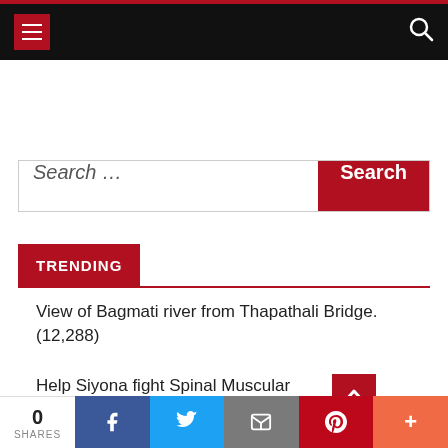[Figure (screenshot): Website navigation bar with hamburger menu icon on left (red background) and search icon on right, on black background with red top border]
[Figure (screenshot): Search input field with placeholder 'Search ...' and red 'Search' button]
TRENDING
View of Bagmati river from Thapathali Bridge. (12,288)
Help Siyona fight Spinal Muscular Atrophy
[Figure (screenshot): Share bar at bottom with 0 SHARES count, Facebook, Twitter, Email, Pinterest, and More (+) buttons]